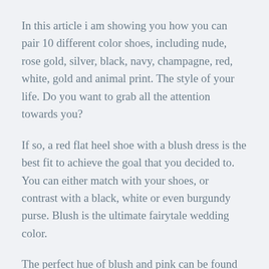In this article i am showing you how you can pair 10 different color shoes, including nude, rose gold, silver, black, navy, champagne, red, white, gold and animal print. The style of your life. Do you want to grab all the attention towards you?
If so, a red flat heel shoe with a blush dress is the best fit to achieve the goal that you decided to. You can either match with your shoes, or contrast with a black, white or even burgundy purse. Blush is the ultimate fairytale wedding color.
The perfect hue of blush and pink can be found in our versatile, feminine and unique bridesmaid dresses. Browse mob and mother of the groom dresses in delicate pink, blush, rose and mauve colors. Choice of white, yellow, lilac, blue or pink.